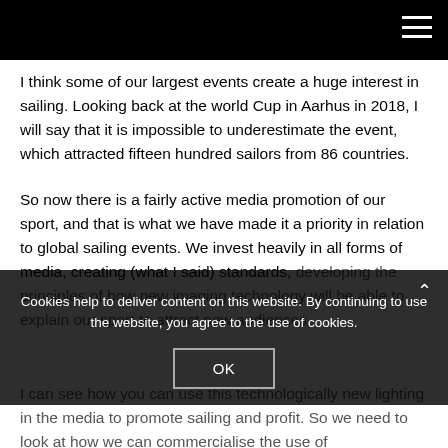I think some of our largest events create a huge interest in sailing. Looking back at the world Cup in Aarhus in 2018, I will say that it is impossible to underestimate the event, which attracted fifteen hundred sailors from 86 countries.
So now there is a fairly active media promotion of our sport, and that is what we have made it a priority in relation to global sailing events. We invest heavily in all forms of media, creating (what I said) standards, developing the principles of how new imaging technology will be able to explain our sport to attract new audiences
Cookies help to deliver content on this website. By continuing to use the website, you agree to the use of cookies.
I can see how you can use this technologically new lighting in the media to promote sailing and profit. So we need to look at how we can commercialise the use of